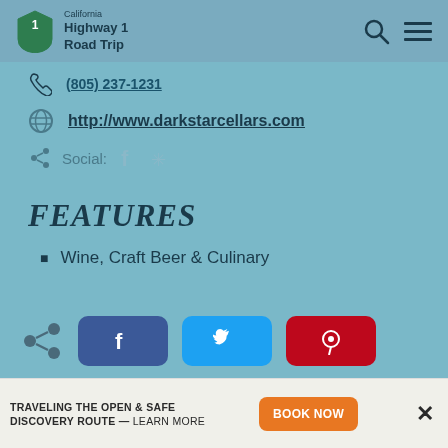California Highway 1 Road Trip
(805) 237-1231
http://www.darkstarcellars.com
Social: Facebook, Yelp
FEATURES
Wine, Craft Beer & Culinary
TRAVELING THE OPEN & SAFE DISCOVERY ROUTE — LEARN MORE | BOOK NOW | ×